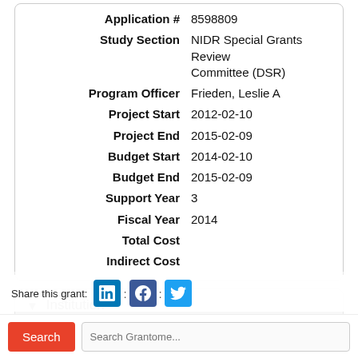| Field | Value |
| --- | --- |
| Application # | 8598809 |
| Study Section | NIDR Special Grants Review Committee (DSR) |
| Program Officer | Frieden, Leslie A |
| Project Start | 2012-02-10 |
| Project End | 2015-02-09 |
| Budget Start | 2014-02-10 |
| Budget End | 2015-02-09 |
| Support Year | 3 |
| Fiscal Year | 2014 |
| Total Cost |  |
| Indirect Cost |  |
Institution
| Field | Value |
| --- | --- |
| Name | University of Colorado Denver |
| Department |  |
| Type | Schools of Dentistry/Oral Hygn |
| DUNS # |  |